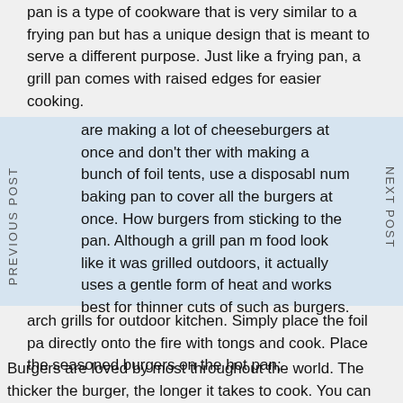pan is a type of cookware that is very similar to a frying pan but has a unique design that is meant to serve a different purpose. Just like a frying pan, a grill pan comes with raised edges for easier cooking.
are making a lot of cheeseburgers at once and don't ther with making a bunch of foil tents, use a disposabl num baking pan to cover all the burgers at once. How burgers from sticking to the pan. Although a grill pan m food look like it was grilled outdoors, it actually uses a gentle form of heat and works best for thinner cuts of such as burgers.
arch grills for outdoor kitchen. Simply place the foil pa directly onto the fire with tongs and cook. Place the seasoned burgers on the hot pan;
Burgers are loved by most throughout the world. The thicker the burger, the longer it takes to cook. You can also use a.